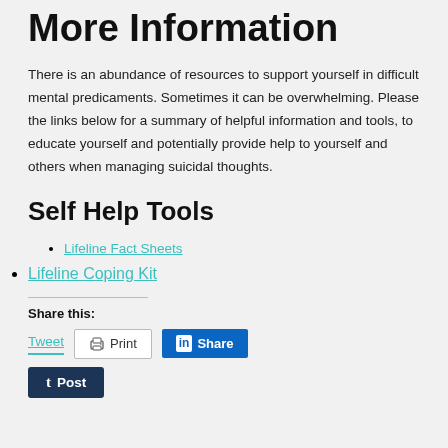More Information
There is an abundance of resources to support yourself in difficult mental predicaments. Sometimes it can be overwhelming. Please the links below for a summary of helpful information and tools, to educate yourself and potentially provide help to yourself and others when managing suicidal thoughts.
Self Help Tools
Lifeline Fact Sheets
Lifeline Coping Kit
Share this:
Tweet | Print | Share | Post